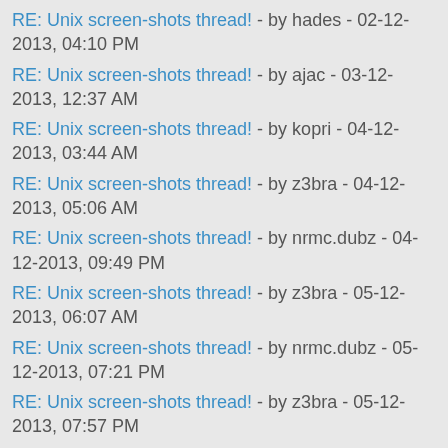RE: Unix screen-shots thread! - by hades - 02-12-2013, 04:10 PM
RE: Unix screen-shots thread! - by ajac - 03-12-2013, 12:37 AM
RE: Unix screen-shots thread! - by kopri - 04-12-2013, 03:44 AM
RE: Unix screen-shots thread! - by z3bra - 04-12-2013, 05:06 AM
RE: Unix screen-shots thread! - by nrmc.dubz - 04-12-2013, 09:49 PM
RE: Unix screen-shots thread! - by z3bra - 05-12-2013, 06:07 AM
RE: Unix screen-shots thread! - by nrmc.dubz - 05-12-2013, 07:21 PM
RE: Unix screen-shots thread! - by z3bra - 05-12-2013, 07:57 PM
RE: Unix screen-shots thread! - by trgc - 07-12-2013, 01:21 AM
RE: Unix screen-shots thread! - by srp - 14-12-2013, 03:24 PM
RE: Unix screen-shots thread! - by vosh - 16-12-2013, 03:26 PM
RE: Unix screen-shots thread! - by jmbi - 16-12-2013, 08:03 PM
RE: Unix screen-shots thread! - by z3bra - 18-12-2013, 04:55